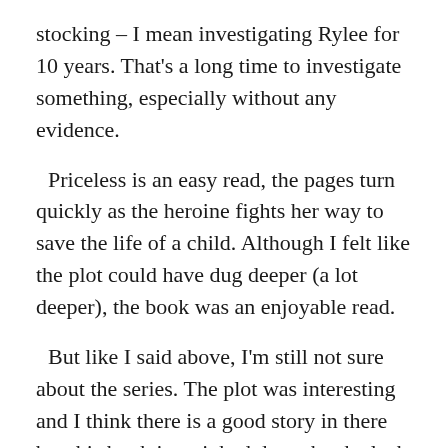stocking – I mean investigating Rylee for 10 years. That's a long time to investigate something, especially without any evidence.
Priceless is an easy read, the pages turn quickly as the heroine fights her way to save the life of a child. Although I felt like the plot could have dug deeper (a lot deeper), the book was an enjoyable read.
But like I said above, I'm still not sure about the series. The plot was interesting and I think there is a good story in there but this book is weighed down by the lack of editing. Ok, maybe not the lack of editing but the book could have used more help in that department. Another thing that really put me off was all the sexuality